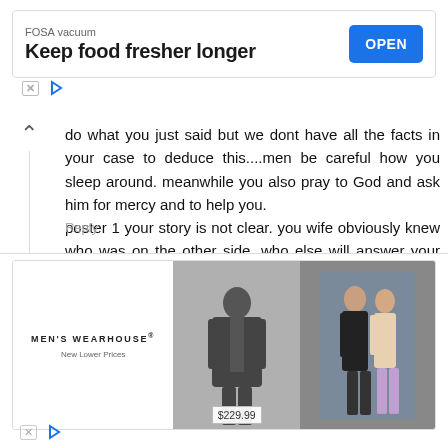[Figure (screenshot): Top advertisement banner: FOSA vacuum - Keep food fresher longer - OPEN button]
do what you just said but we dont have all the facts in your case to deduce this....men be careful how you sleep around. meanwhile you also pray to God and ask him for mercy and to help you.
poster 1 your story is not clear. you wife obviously knew who was on the other side. who else will answer your children's phone if not anyone in your household abi dem dey carry phone go school? why did your brother not ask who was speaking? someone is definitely lying IMO.
Reply
Mc pinky(Award winner of BV WITH THE MOST
[Figure (screenshot): Bottom advertisement: Men's Wearhouse - New Lower Prices - suit image - $229.99 - couple image]